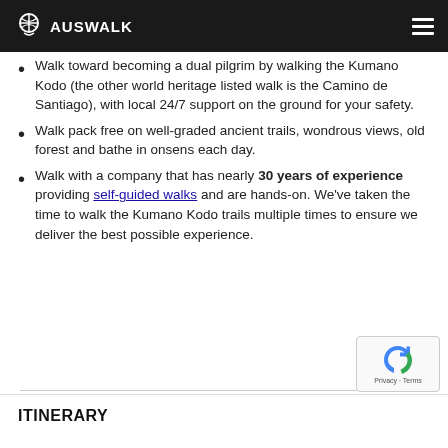AUSWALK
Walk toward becoming a dual pilgrim by walking the Kumano Kodo (the other world heritage listed walk is the Camino de Santiago), with local 24/7 support on the ground for your safety.
Walk pack free on well-graded ancient trails, wondrous views, old forest and bathe in onsens each day.
Walk with a company that has nearly 30 years of experience providing self-guided walks and are hands-on. We've taken the time to walk the Kumano Kodo trails multiple times to ensure we deliver the best possible experience.
ITINERARY